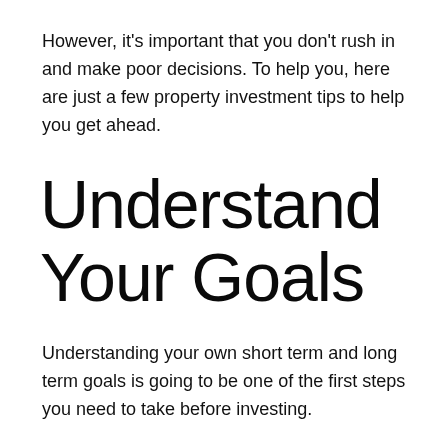However, it's important that you don't rush in and make poor decisions. To help you, here are just a few property investment tips to help you get ahead.
Understand Your Goals
Understanding your own short term and long term goals is going to be one of the first steps you need to take before investing.